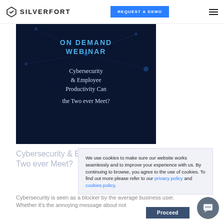SILVERFORT | REQUEST A DEMO
[Figure (screenshot): On Demand Webinar promotional image with dark blue network background. Text reads 'ON DEMAND WEBINAR' in blue, followed by 'Cybersecurity & Employee Productivity Can the Two ever Meet?' in white serif font.]
Cybersecurity & Employee Productivity Can the Two ever Meet?
Cybersecurity is seen as a blocker by the average business user. Whether it's the annoying message about not
We use cookies to make sure our website works seamlessly and to improve your experience with us. By continuing to browse, you agree to the use of cookies. To find out more please refer to our privacy policy and cookies policy.